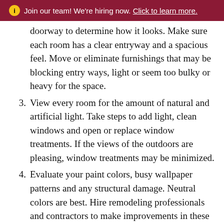ℹ Join our team! We're hiring now. Click to learn more.
doorway to determine how it looks. Make sure each room has a clear entryway and a spacious feel. Move or eliminate furnishings that may be blocking entry ways, light or seem too bulky or heavy for the space.
3. View every room for the amount of natural and artificial light. Take steps to add light, clean windows and open or replace window treatments. If the views of the outdoors are pleasing, window treatments may be minimized.
4. Evaluate your paint colors, busy wallpaper patterns and any structural damage. Neutral colors are best. Hire remodeling professionals and contractors to make improvements in these areas.
5. Thoroughly clean everything. Cobwebs, skylights, windows, brick work, baseboards, flooring, carpets, corners of appliances and on and on.
6. Declutter rooms by removing extra pieces of